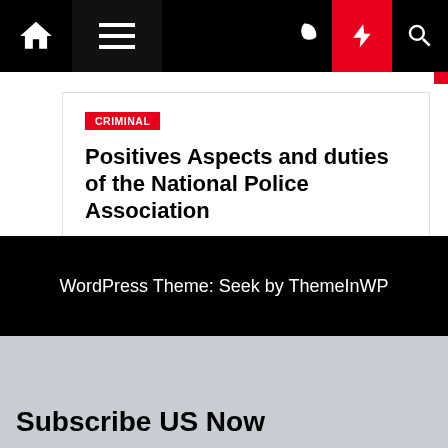Navigation bar with home, menu, moon, bolt, and search icons
CRIMINAL
Positives Aspects and duties of the National Police Association
admin  1 year ago
WordPress Theme: Seek by ThemeInWP
Subscribe US Now